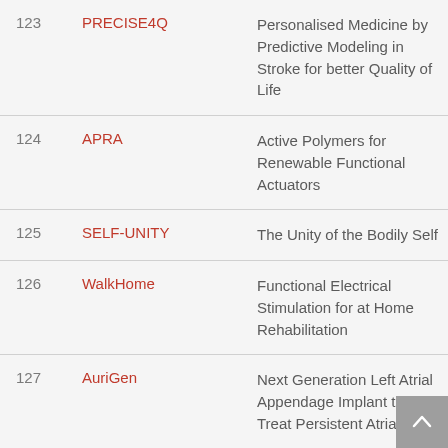| # | Acronym | Description |
| --- | --- | --- |
| 123 | PRECISE4Q | Personalised Medicine by Predictive Modeling in Stroke for better Quality of Life |
| 124 | APRA | Active Polymers for Renewable Functional Actuators |
| 125 | SELF-UNITY | The Unity of the Bodily Self |
| 126 | WalkHome | Functional Electrical Stimulation for at Home Rehabilitation |
| 127 | AuriGen | Next Generation Left Atrial Appendage Implant to Treat Persistent Atrial |